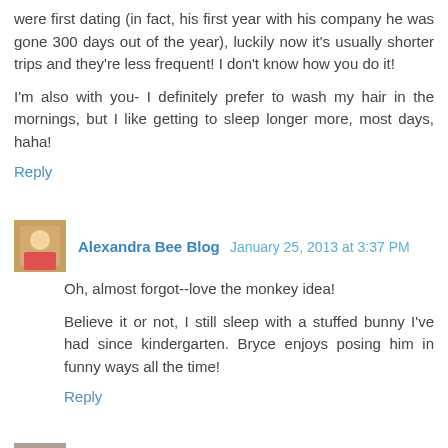were first dating (in fact, his first year with his company he was gone 300 days out of the year), luckily now it's usually shorter trips and they're less frequent! I don't know how you do it!
I'm also with you- I definitely prefer to wash my hair in the mornings, but I like getting to sleep longer more, most days, haha!
Reply
Alexandra Bee Blog  January 25, 2013 at 3:37 PM
Oh, almost forgot--love the monkey idea!
Believe it or not, I still sleep with a stuffed bunny I've had since kindergarten. Bryce enjoys posing him in funny ways all the time!
Reply
WorthyStyle  January 29, 2013 at 4:38 PM